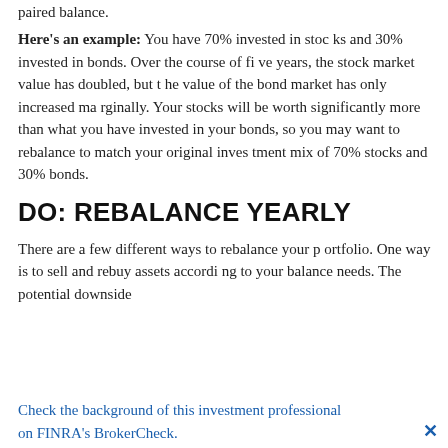paired balance.
Here's an example: You have 70% invested in stocks and 30% invested in bonds. Over the course of five years, the stock market value has doubled, but the value of the bond market has only increased marginally. Your stocks will be worth significantly more than what you have invested in your bonds, so you may want to rebalance to match your original investment mix of 70% stocks and 30% bonds.
DO: REBALANCE YEARLY
There are a few different ways to rebalance your portfolio. One way is to sell and rebuy assets according to your balance needs. The potential downside
Check the background of this investment professional on FINRA's BrokerCheck.